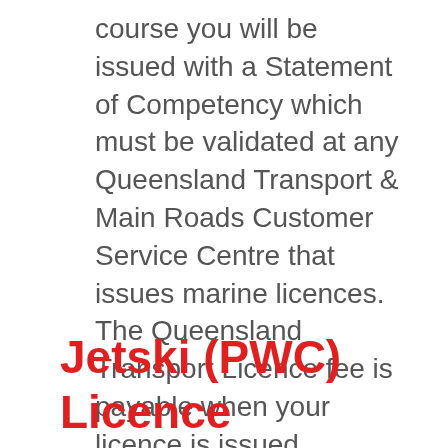course you will be issued with a Statement of Competency which must be validated at any Queensland Transport & Main Roads Customer Service Centre that issues marine licences. The Queensland Transport Licence fee is payable when your licence is issued.
Jetski (PWC) Licence